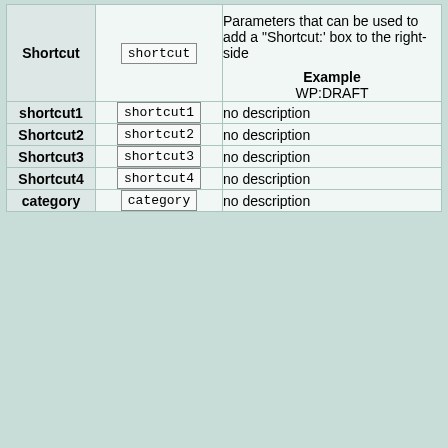| Parameter | Code | Description |
| --- | --- | --- |
| Shortcut | shortcut | Parameters that can be used to add a "Shortcut:' box to the right-side
Example
WP:DRAFT |
| shortcut1 | shortcut1 | no description |
| Shortcut2 | shortcut2 | no description |
| Shortcut3 | shortcut3 | no description |
| Shortcut4 | shortcut4 | no description |
| category | category | no description |